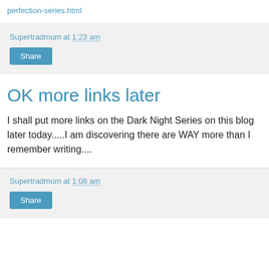perfection-series.html
Supertradmum at 1:23 am
Share
OK more links later
I shall put more links on the Dark Night Series on this blog later today.....I am discovering there are WAY more than I remember writing....
Supertradmum at 1:08 am
Share